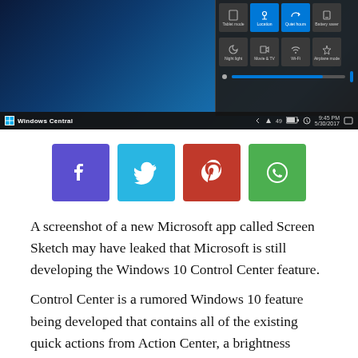[Figure (screenshot): Windows 10 Action Center / Control Center panel screenshot showing quick action buttons (Tablet mode, Location, Quiet hours, Battery saver, Night light, Movie & TV, Wi-Fi, Airplane mode), a brightness slider, and the taskbar with Windows Central branding and system tray showing 9:45 PM 5/30/2017]
[Figure (infographic): Row of four social media share buttons: Facebook (purple), Twitter (blue), Pinterest (red), WhatsApp (green)]
A screenshot of a new Microsoft app called Screen Sketch may have leaked that Microsoft is still developing the Windows 10 Control Center feature.
Control Center is a rumored Windows 10 feature being developed that contains all of the existing quick actions from Action Center, a brightness slider, and quick links to various setting screens. This control center would be accessible via a settings cog that would sit in the taskbar. According